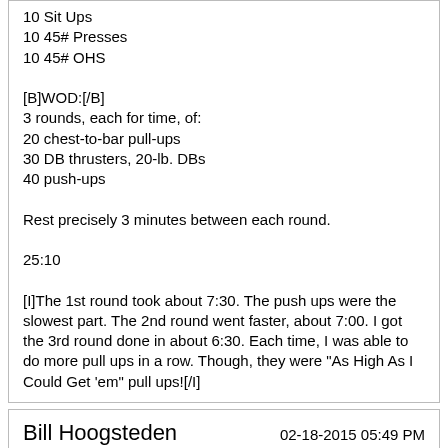10 Sit Ups
10 45# Presses
10 45# OHS

[B]WOD:[/B]
3 rounds, each for time, of:
20 chest-to-bar pull-ups
30 DB thrusters, 20-lb. DBs
40 push-ups

Rest precisely 3 minutes between each round.

25:10

[I]The 1st round took about 7:30. The push ups were the slowest part. The 2nd round went faster, about 7:00. I got the 3rd round done in about 6:30. Each time, I was able to do more pull ups in a row. Though, they were "As High As I Could Get 'em" pull ups![/I]
Bill Hoogsteden
02-18-2015 05:49 PM
Re: Over 50 Crossfitters Sign In
[B]Still at Base Globo:
WU:[/B]
400 m run
100+ SUs
2 min on Jacobs Ladder
10 Leg Swings, each leg, both directions